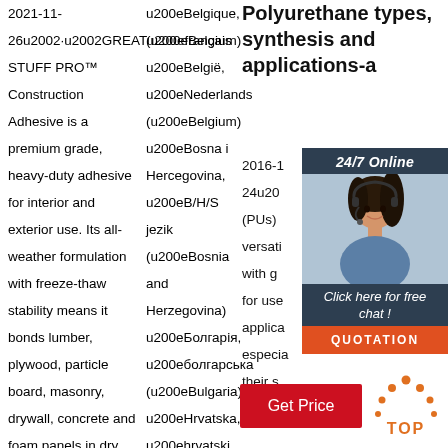2021-11-26u2002·u2002GREATu200efrançais STUFF PRO™ Construction Adhesive is a premium grade, heavy-duty adhesive for interior and exterior use. Its all-weather formulation with freeze-thaw stability means it bonds lumber, plywood, particle board, masonry, drywall, concrete and foam panels in dry, damp and frozen conditions. View
u200eBelgique, (u200eBelgium) u200eBelgië, u200eNederlands (u200eBelgium) u200eBosna i Hercegovina, u200eB/H/S jezik (u200eBosnia and Herzegovina) u200eБолгарія, u200eболгарська (u200eBulgaria) u200eHrvatska, u200ehrvatski (u200eCroatia) u200ečeská republika
Polyurethane types, synthesis and applications-a
2016-1 24u20 (PUs) versati with g for use applica especia their s
[Figure (photo): Chat widget with woman wearing headset, 24/7 Online header, 'Click here for free chat!' and QUOTATION button]
[Figure (infographic): Get Price red button and TOP logo with orange dots]
Get Price
TOP